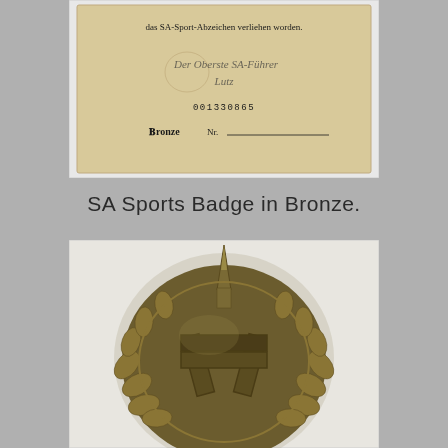[Figure (photo): A tan/beige document card with German text 'das SA-Sport-Abzeichen verliehen worden.' with an embossed signature, serial number 001330865, and 'Bronze Nr.' printed on it.]
SA Sports Badge in Bronze.
[Figure (photo): A bronze SA Sports Badge showing an oak wreath surrounding a stylized design, photographed against a white background.]